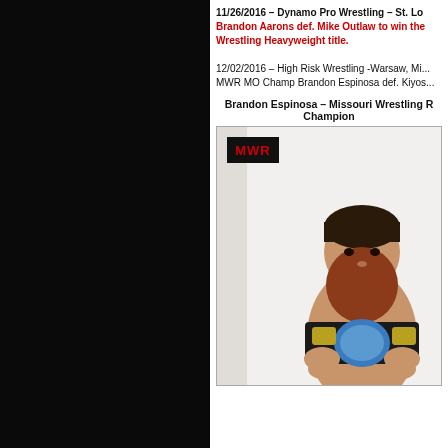11/26/2016 – Dynamo Pro Wrestling – St. Lo
Brandon Aarons def. Mike Outlaw to win the Wrestling Heavyweight title.
12/02/2016 – High Risk Wrestling -Warsaw, Mi... MWR MO Champ Brandon Espinosa def. Kiyos...
Brandon Espinosa – Missouri Wrestling R Champion
[Figure (photo): Brandon Espinosa holding a wrestling championship belt, with long dark hair pulled back and a large auburn beard, shirtless, against a white background. MWR logo visible in top-left corner of the photo frame.]